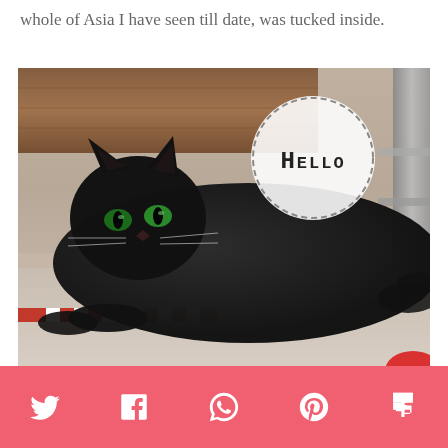whole of Asia I have seen till date, was tucked inside.
[Figure (photo): A black cat with green eyes lying on a ledge or shelf, with a speech bubble overlay saying 'Hello' in dashed circle]
Social share bar with Twitter, Facebook, WhatsApp, Pinterest, and Flipboard icons